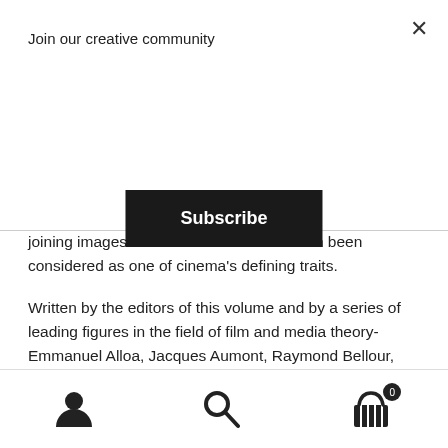Join our creative community
Subscribe
joining images and sounds which has often been considered as one of cinema's defining traits.
Written by the editors of this volume and by a series of leading figures in the field of film and media theory-Emmanuel Alloa, Jacques Aumont, Raymond Bellour, Christa Blümlinger, Georges Didi-Huberman, Philippe Dubois and Noam Elcott, plus a machine-written text produced by a "collaboration" between Grégory Chatonsky and different recursive neural networks-the
navigation icons: user, search, cart (0)